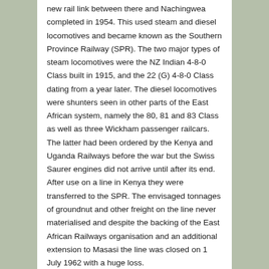new rail link between there and Nachingwea completed in 1954. This used steam and diesel locomotives and became known as the Southern Province Railway (SPR). The two major types of steam locomotives were the NZ Indian 4-8-0 Class built in 1915, and the 22 (G) 4-8-0 Class dating from a year later. The diesel locomotives were shunters seen in other parts of the East African system, namely the 80, 81 and 83 Class as well as three Wickham passenger railcars. The latter had been ordered by the Kenya and Uganda Railways before the war but the Swiss Saurer engines did not arrive until after its end. After use on a line in Kenya they were transferred to the SPR. The envisaged tonnages of groundnut and other freight on the line never materialised and despite the backing of the East African Railways organisation and an additional extension to Masasi the line was closed on 1 July 1962 with a huge loss.
The Groundnut Line by David Burton is an excellent addition to the East African railway enthusiast's library and tells the story of the earlier Lindi tramway built by the